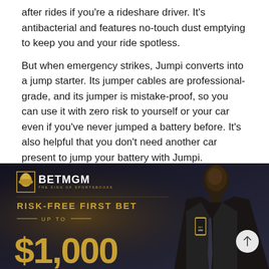after rides if you're a rideshare driver. It's antibacterial and features no-touch dust emptying to keep you and your ride spotless.
But when emergency strikes, Jumpi converts into a jump starter. Its jumper cables are professional-grade, and its jumper is mistake-proof, so you can use it with zero risk to yourself or your car even if you've never jumped a battery before. It's also helpful that you don't need another car present to jump your battery with Jumpi.
[Figure (photo): BetMGM advertisement banner with dark background showing a man in a suit holding a phone, BetMGM lion logo, text 'RISK-FREE FIRST BET UP TO $1,000']